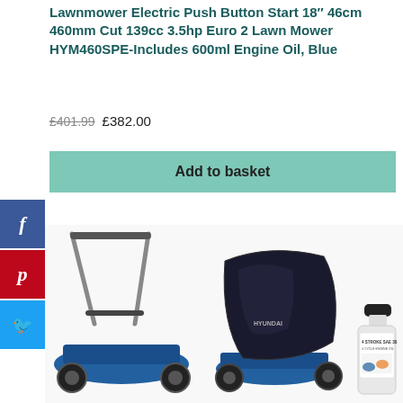Lawnmower Electric Push Button Start 18″ 46cm 460mm Cut 139cc 3.5hp Euro 2 Lawn Mower HYM460SPE-Includes 600ml Engine Oil, Blue
£401.99 £382.00
Add to basket
[Figure (screenshot): Social media share buttons: Facebook (blue), Pinterest (red), Twitter (light blue), displayed vertically on the left side]
[Figure (photo): Hyundai lawnmower product photo showing the mower handle/body, the mower with a black cover/bag attached, and a bottle of 4-stroke SAE 30 engine oil on the right]